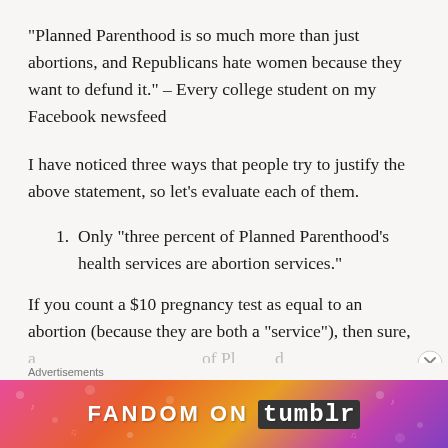“Planned Parenthood is so much more than just abortions, and Republicans hate women because they want to defund it.” – Every college student on my Facebook newsfeed
I have noticed three ways that people try to justify the above statement, so let’s evaluate each of them.
Only “three percent of Planned Parenthood’s health services are abortion services.”
If you count a $10 pregnancy test as equal to an abortion (because they are both a “service”), then sure,
Advertisements
[Figure (infographic): Colorful Fandom on Tumblr advertisement banner with gradient background in pink, orange, purple colors]